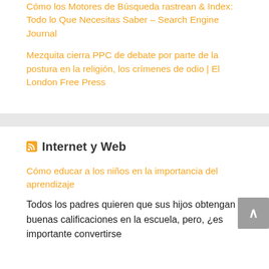Cómo los Motores de Búsqueda rastrean & Index: Todo lo Que Necesitas Saber – Search Engine Journal
Mezquita cierra PPC de debate por parte de la postura en la religión, los crímenes de odio | El London Free Press
Internet y Web
Cómo educar a los niños en la importancia del aprendizaje
Todos los padres quieren que sus hijos obtengan buenas calificaciones en la escuela, pero, ¿es importante convertirse